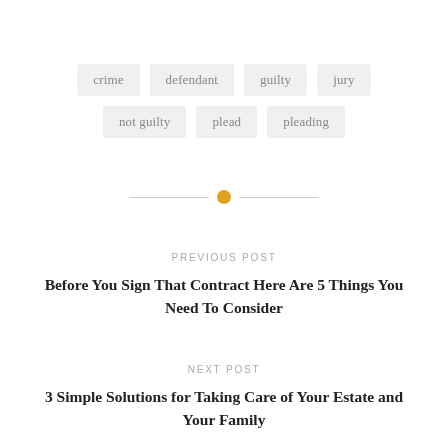crime
defendant
guilty
jury
not guilty
plead
pleading
PREVIOUS POST
Before You Sign That Contract Here Are 5 Things You Need To Consider
NEXT POST
3 Simple Solutions for Taking Care of Your Estate and Your Family